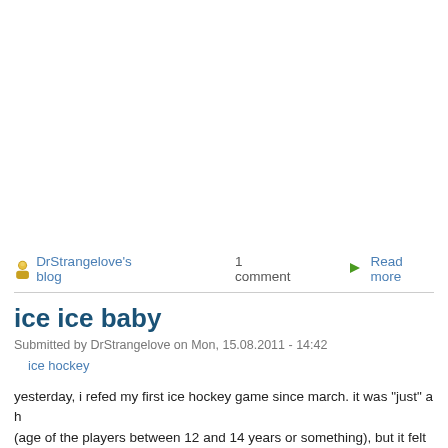DrStrangelove's blog   1 comment   ▶ Read more
ice ice baby
Submitted by DrStrangelove on Mon, 15.08.2011 - 14:42
ice hockey
yesterday, i refed my first ice hockey game since march. it was "just" a h (age of the players between 12 and 14 years or something), but it felt go
actually, it was a bit late for my standards: the last two years i had my "f